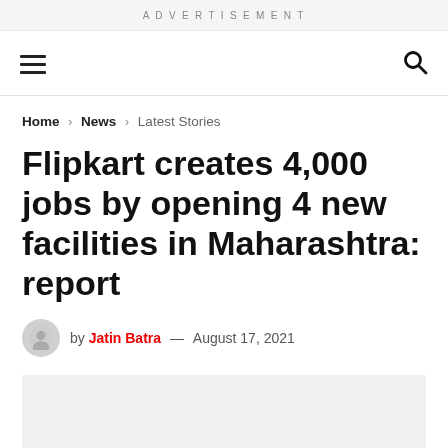ADVERTISEMENT
Home > News > Latest Stories
Flipkart creates 4,000 jobs by opening 4 new facilities in Maharashtra: report
by Jatin Batra — August 17, 2021
[Figure (photo): Light grey placeholder image below the byline]